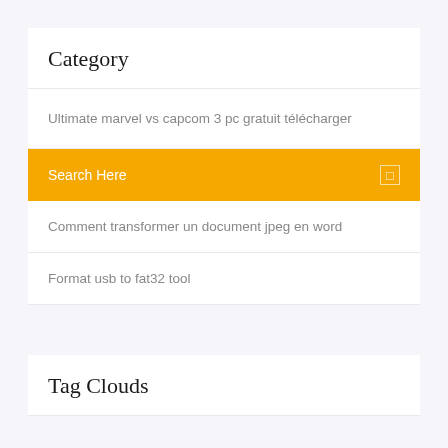Category
Ultimate marvel vs capcom 3 pc gratuit télécharger
Search Here
Comment transformer un document jpeg en word
Format usb to fat32 tool
Tag Clouds